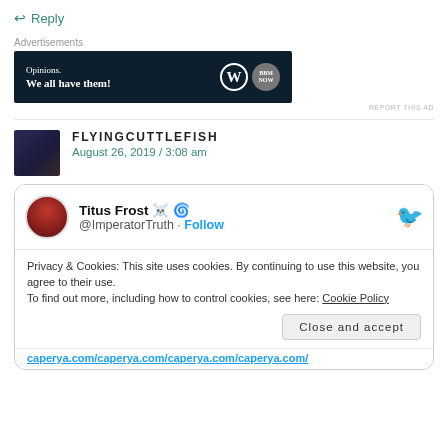↩ Reply
[Figure (other): Advertisement banner with dark navy background showing 'Opinions. We all have them!' text with WordPress and BBM logos]
REPORT THIS AD
FLYINGCUTTLEFISH
August 26, 2019 / 3:08 am
[Figure (screenshot): Embedded tweet from Titus Frost @ImperatorTruth with Follow button and Twitter bird logo]
Privacy & Cookies: This site uses cookies. By continuing to use this website, you agree to their use.
To find out more, including how to control cookies, see here: Cookie Policy
Close and accept